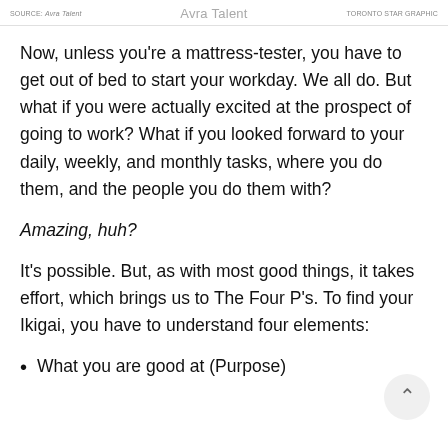SOURCE: Avra Talent | TORONTO STAR GRAPHIC
Now, unless you're a mattress-tester, you have to get out of bed to start your workday. We all do. But what if you were actually excited at the prospect of going to work? What if you looked forward to your daily, weekly, and monthly tasks, where you do them, and the people you do them with?
Amazing, huh?
It's possible. But, as with most good things, it takes effort, which brings us to The Four P's. To find your Ikigai, you have to understand four elements:
What you are good at (Purpose)